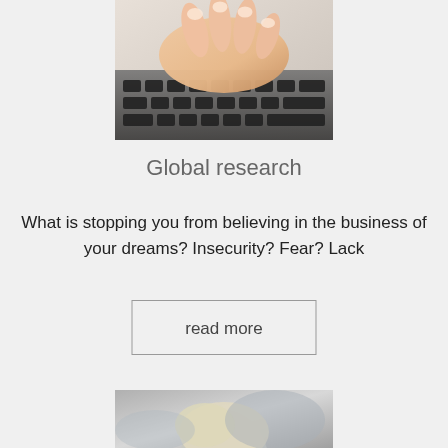[Figure (photo): Close-up photo of a person's hand typing on a laptop keyboard, warm skin tones against dark keyboard keys]
Global research
What is stopping you from believing in the business of your dreams? Insecurity? Fear? Lack
read more
[Figure (photo): Partial photo of a blonde person's head, black and white or muted tones, cropped at bottom of page]